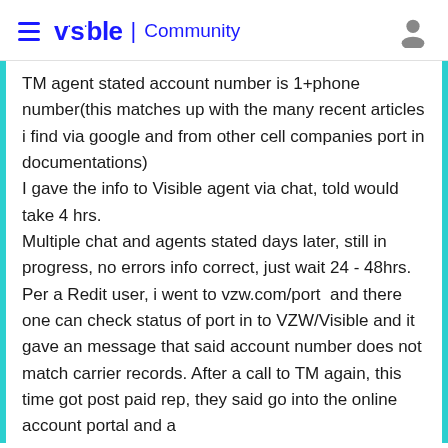visible | Community
TM agent stated account number is 1+phone number(this matches up with the many recent articles i find via google and from other cell companies port in documentations)
I gave the info to Visible agent via chat, told would take 4 hrs.
Multiple chat and agents stated days later, still in progress, no errors info correct, just wait 24 - 48hrs.
Per a Redit user, i went to vzw.com/port  and there one can check status of port in to VZW/Visible and it gave an message that said account number does not match carrier records. After a call to TM again, this time got post paid rep, they said go into the online account portal and a